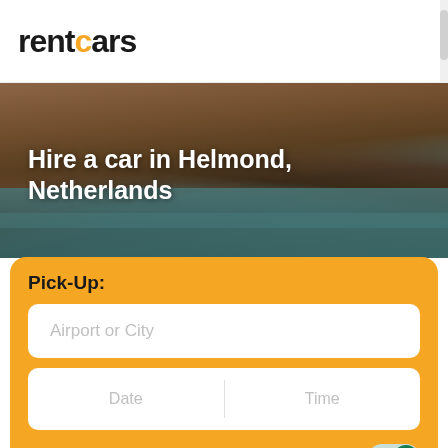rentcars
[Figure (photo): Aerial or coastal road photo with rocky cliffs and ocean water, used as hero background for Hire a car in Helmond, Netherlands]
Hire a car in Helmond, Netherlands
Pick-Up:
Airport or City
Date | Time
Drop-Off:
Same location
Date | Time